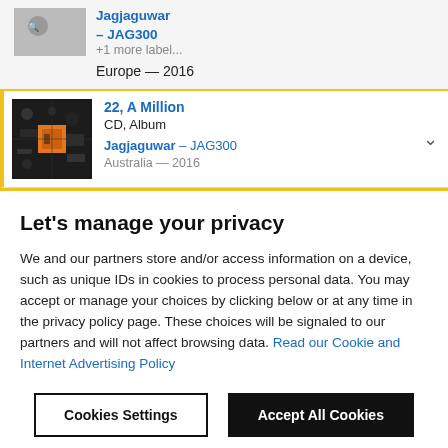Jagjaguwar – JAG300
+1 more label...
Europe — 2016
22, A Million
CD, Album
Jagjaguwar – JAG300
Australia — 2016
Let's manage your privacy
We and our partners store and/or access information on a device, such as unique IDs in cookies to process personal data. You may accept or manage your choices by clicking below or at any time in the privacy policy page. These choices will be signaled to our partners and will not affect browsing data. Read our Cookie and Internet Advertising Policy
Cookies Settings
Accept All Cookies